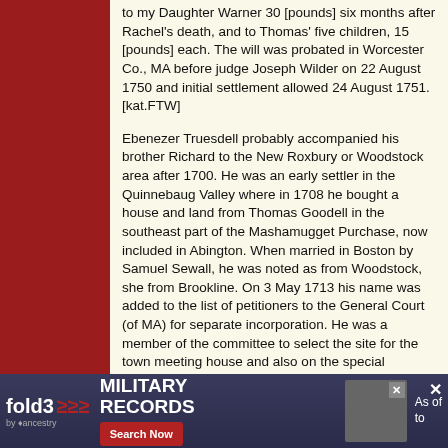to my Daughter Warner 30 [pounds] six months after Rachel's death, and to Thomas' five children, 15 [pounds] each. The will was probated in Worcester Co., MA before judge Joseph Wilder on 22 August 1750 and initial settlement allowed 24 August 1751. [kat.FTW]
Ebenezer Truesdell probably accompanied his brother Richard to the New Roxbury or Woodstock area after 1700. He was an early settler in the Quinnebaug Valley where in 1708 he bought a house and land from Thomas Goodell in the southeast part of the Mashamugget Purchase, now included in Abington. When married in Boston by Samuel Sewall, he was noted as from Woodstock, she from Brookline. On 3 May 1713 his name was added to the list of petitioners to the General Court (of MA) for separate incorporation. He was a member of the committee to select the site for the town meeting house and also on the special
[Figure (infographic): fold3 by Ancestry advertisement banner for Military Records with Search Now button and a military photo thumbnail. Includes dismiss X button and partial text 'As of to']